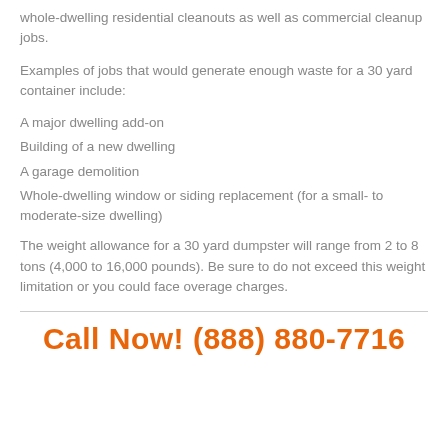whole-dwelling residential cleanouts as well as commercial cleanup jobs.
Examples of jobs that would generate enough waste for a 30 yard container include:
A major dwelling add-on
Building of a new dwelling
A garage demolition
Whole-dwelling window or siding replacement (for a small- to moderate-size dwelling)
The weight allowance for a 30 yard dumpster will range from 2 to 8 tons (4,000 to 16,000 pounds). Be sure to do not exceed this weight limitation or you could face overage charges.
Call Now! (888) 880-7716